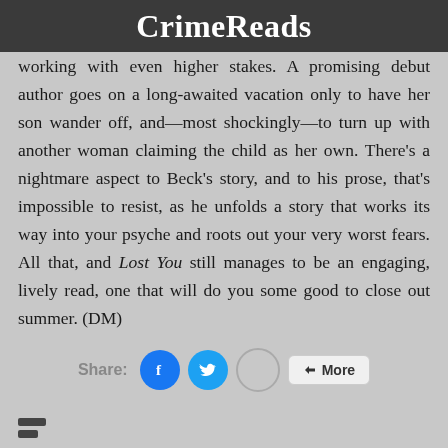CrimeReads
working with even higher stakes. A promising debut author goes on a long-awaited vacation only to have her son wander off, and—most shockingly—to turn up with another woman claiming the child as her own. There's a nightmare aspect to Beck's story, and to his prose, that's impossible to resist, as he unfolds a story that works its way into your psyche and roots out your very worst fears. All that, and Lost You still manages to be an engaging, lively read, one that will do you some good to close out summer. (DM)